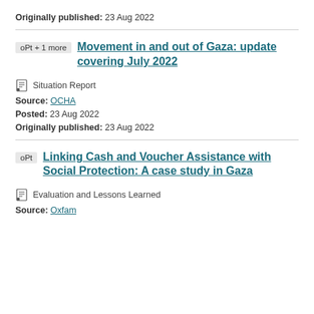Originally published: 23 Aug 2022
Movement in and out of Gaza: update covering July 2022
Situation Report
Source: OCHA
Posted: 23 Aug 2022
Originally published: 23 Aug 2022
Linking Cash and Voucher Assistance with Social Protection: A case study in Gaza
Evaluation and Lessons Learned
Source: Oxfam